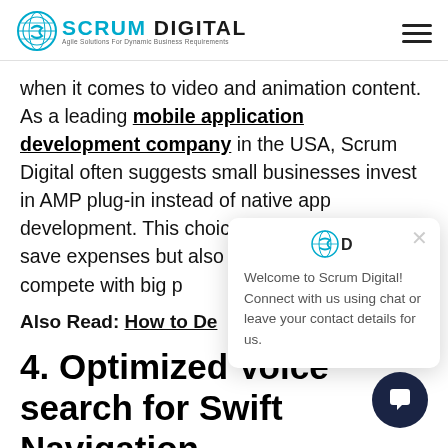Scrum Digital — Agile Solutions For Dynamic Business Requirements
when it comes to video and animation content. As a leading mobile application development company in the USA, Scrum Digital often suggests small businesses invest in AMP plug-in instead of native app development. This choice not only helps them save expenses but also makes them eligible to compete with big p…
Also Read: How to De…
4. Optimized Voice search for Swift Navigation